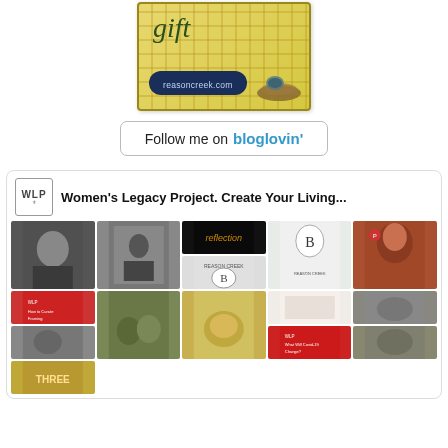[Figure (illustration): Decorative gift card image with handwritten 'gift' text, reasoncreek.com label, and bird nest illustration on yellow/plaid background]
[Figure (screenshot): Follow me on bloglovin' button with blue bloglovin text and rounded border]
[Figure (screenshot): Pinterest widget showing Women's Legacy Project board with WLP logo, title 'Women's Legacy Project. Create Your Living...' and a grid of pin thumbnails]